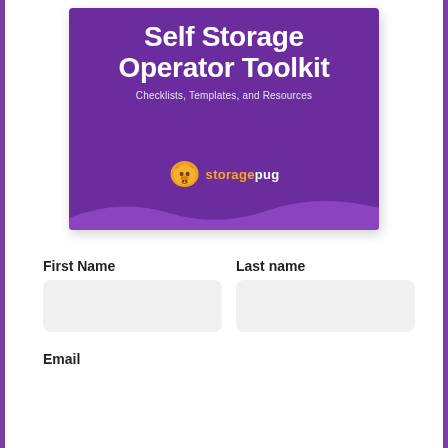[Figure (illustration): Self Storage Operator Toolkit book cover — dark purple background with white bold title text, subtitle 'Checklists, Templates, and Resources', StoragePug logo with orange pug icon, and a lighter purple wave at the bottom.]
First Name
Last name
Email